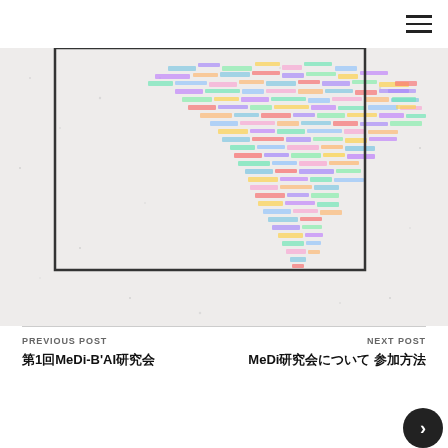Navigation menu icon
[Figure (infographic): A colorful data visualization showing dense multicolor text/label blocks arranged in a heart or organic shape, on a light speckled background. Colors include blue, purple, green, orange, red, teal. A black rectangle outline is overlaid on the left portion of the image.]
PREVIOUS POST
第1回MeDi-B'AI研究会
NEXT POST
MeDi研究会について 参加方法